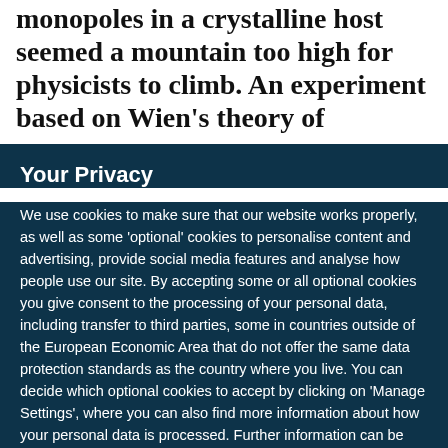monopoles in a crystalline host seemed a mountain too high for physicists to climb. An experiment based on Wien's theory of
Your Privacy
We use cookies to make sure that our website works properly, as well as some 'optional' cookies to personalise content and advertising, provide social media features and analyse how people use our site. By accepting some or all optional cookies you give consent to the processing of your personal data, including transfer to third parties, some in countries outside of the European Economic Area that do not offer the same data protection standards as the country where you live. You can decide which optional cookies to accept by clicking on 'Manage Settings', where you can also find more information about how your personal data is processed. Further information can be found in our privacy policy.
Accept all cookies
Manage preferences
Get the most important science stories of the day, free